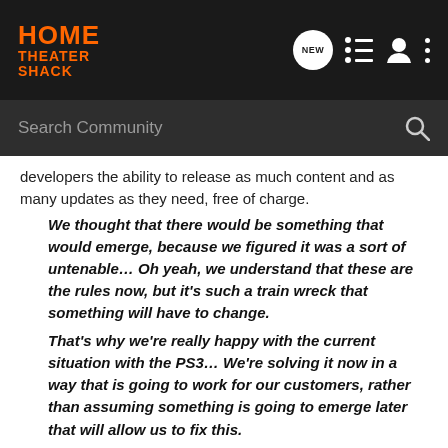[Figure (logo): Home Theater Shack logo in orange on dark background]
NEW | list icon | profile icon | more icon
Search Community
developers the ability to release as much content and as many updates as they need, free of charge.
We thought that there would be something that would emerge, because we figured it was a sort of untenable… Oh yeah, we understand that these are the rules now, but it's such a train wreck that something will have to change. That's why we're really happy with the current situation with the PS3… We're solving it now in a way that is going to work for our customers, rather than assuming something is going to emerge later that will allow us to fix this.
Erik Johnson also sounded off in the interview:
Favourite conversation of ours! PS3, so far. The way